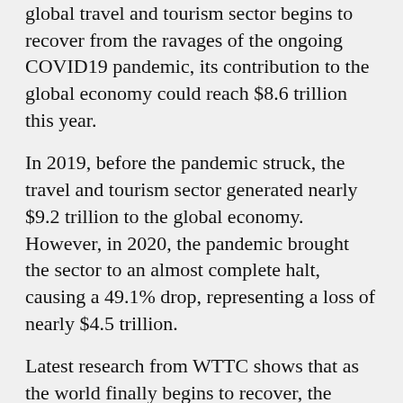global travel and tourism sector begins to recover from the ravages of the ongoing COVID19 pandemic, its contribution to the global economy could reach $8.6 trillion this year.
In 2019, before the pandemic struck, the travel and tourism sector generated nearly $9.2 trillion to the global economy. However, in 2020, the pandemic brought the sector to an almost complete halt, causing a 49.1% drop, representing a loss of nearly $4.5 trillion.
Latest research from WTTC shows that as the world finally begins to recover, the sector's contribution to the global economy and jobs could reach almost pre-pandemic levels this year, if the recovery of the sector continues to pick up pace.
The research shows that if the vaccine and booster